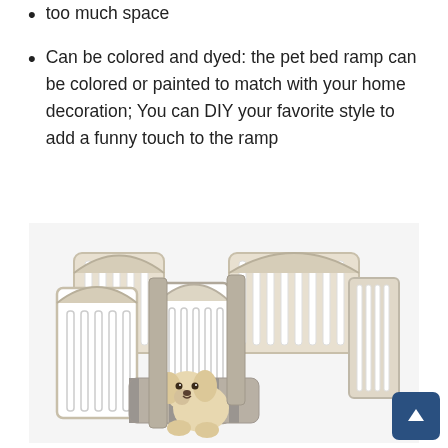too much space
Can be colored and dyed: the pet bed ramp can be colored or painted to match with your home decoration; You can DIY your favorite style to add a funny touch to the ramp
[Figure (photo): A white and beige modular plastic pet playpen/exercise pen with vertical bar panels connected together forming an enclosure. A small fluffy light-colored dog (poodle or similar breed) is sitting inside near an open gate, looking outward. Inside the pen is a striped cushion/pet bed. A dark blue scroll-to-top button with an upward arrow is visible in the bottom-right corner of the image.]